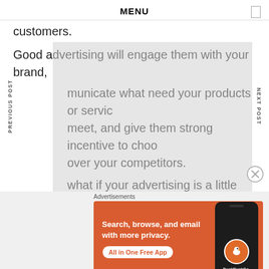MENU
customers.
Good advertising will engage them with your brand, municate what need your products or servic meet, and give them strong incentive to choo over your competitors.
what if your advertising is a little misleading? se you would never lie to your customers, bu risingly easy to exaggerate, or be less clear t
Advertisements
[Figure (screenshot): DuckDuckGo advertisement banner with orange background. Text reads 'Search, browse, and email with more privacy. All in One Free App' with DuckDuckGo logo on phone graphic.]